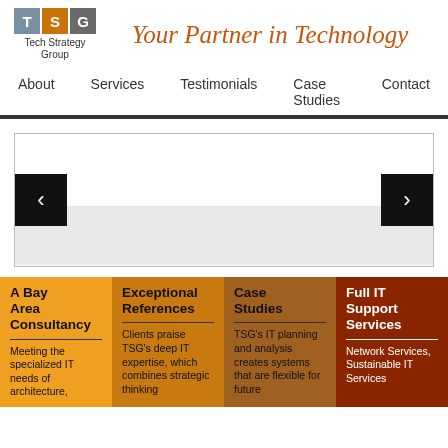[Figure (logo): TSG Tech Strategy Group logo with three colored tiles T, S, G]
Your Partner in Technology
About  Services  Testimonials  Case Studies  Contact
[Figure (screenshot): Image slider with left and right navigation arrows, white and light gray sections]
A Bay Area Consultancy
Meeting the specialized IT needs of architecture,
Exceptional References
Clients praise TSG's deep IT expertise, which combines strategic thinking
Case Studies
TSG's IT planning and analysis creates systems that are flexible for future
Full IT Support Services
Network Services, Sustainable IT Services